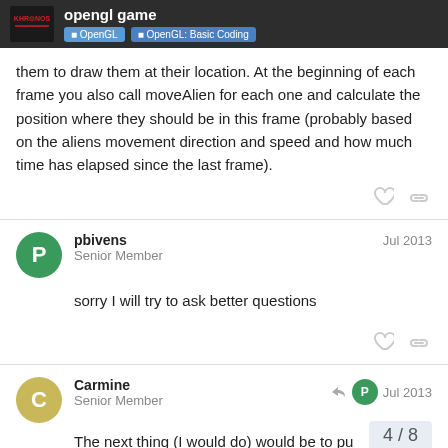opengl game | OpenGL | OpenGL: Basic Coding
them to draw them at their location. At the beginning of each frame you also call moveAlien for each one and calculate the position where they should be in this frame (probably based on the aliens movement direction and speed and how much time has elapsed since the last frame).
pbivens  Senior Member  Jul 2013
sorry I will try to ask better questions
Carmine  Senior Member  Jul 2013
The next thing (I would do) would be to pu...
4 / 8